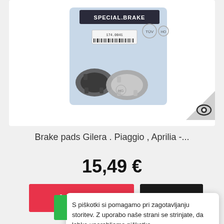[Figure (photo): Product photo of brake pads in Special Brake branded packaging, showing two brake pad sets against a blue background with TÜV and HO certification logos. Part number 174.0041 visible on label.]
Brake pads Gilera . Piaggio , Aprilia -...
15,49 €
Add to cart
More
S piškotki si pomagamo pri zagotavljanju storitev. Z uporabo naše strani se strinjate, da lahko uporabljamo piškotke.
V redu